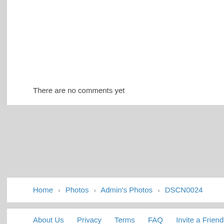There are no comments yet
Home › Photos › Admin's Photos › DSCN0024
About Us   Privacy   Terms   FAQ   Invite a Friend   Contact Us